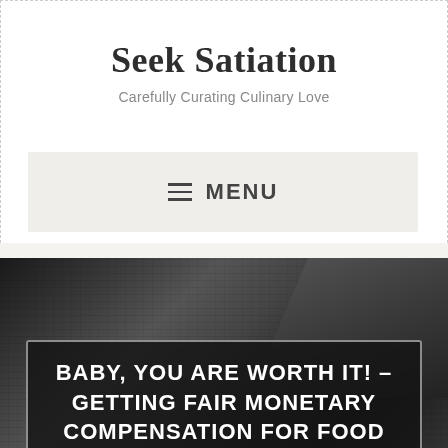Seek Satiation
Carefully Curating Culinary Love
≡ MENU
[Figure (photo): Dark background photo of a laptop computer keyboard, used as hero image behind article title overlay]
BABY, YOU ARE WORTH IT! – GETTING FAIR MONETARY COMPENSATION FOR FOOD CONTENT CREATION